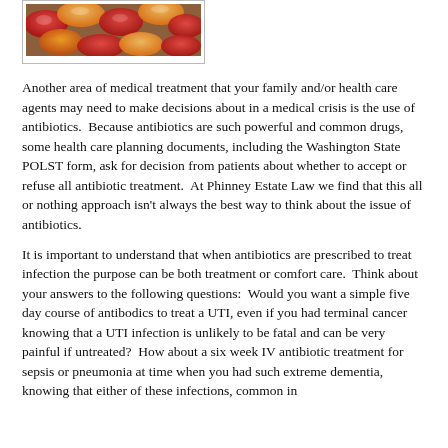[Figure (photo): Close-up photo of colorful red, orange, and yellow capsule/pill medications]
Another area of medical treatment that your family and/or health care agents may need to make decisions about in a medical crisis is the use of antibiotics.  Because antibiotics are such powerful and common drugs, some health care planning documents, including the Washington State POLST form, ask for decision from patients about whether to accept or refuse all antibiotic treatment.  At Phinney Estate Law we find that this all or nothing approach isn't always the best way to think about the issue of antibiotics.
It is important to understand that when antibiotics are prescribed to treat infection the purpose can be both treatment or comfort care.  Think about your answers to the following questions:  Would you want a simple five day course of antibodics to treat a UTI, even if you had terminal cancer knowing that a UTI infection is unlikely to be fatal and can be very painful if untreated?  How about a six week IV antibiotic treatment for sepsis or pneumonia at time when you had such extreme dementia, knowing that either of these infections, common in